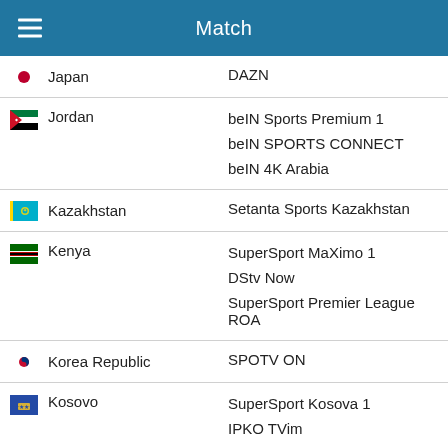Match
| Country | Broadcaster |
| --- | --- |
| Japan | DAZN |
| Jordan | beIN Sports Premium 1
beIN SPORTS CONNECT
beIN 4K Arabia |
| Kazakhstan | Setanta Sports Kazakhstan |
| Kenya | SuperSport MaXimo 1
DStv Now
SuperSport Premier League ROA |
| Korea Republic | SPOTV ON |
| Kosovo | SuperSport Kosova 1
IPKO TVim |
| Kuwait | beIN Sports Premium 1
beIN SPORTS CONNECT
beIN 4K Arabia |